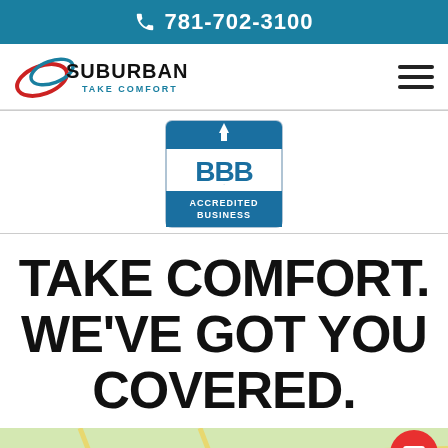781-702-3100
[Figure (logo): Suburban Take Comfort company logo with red and blue swoosh graphic]
[Figure (logo): BBB Accredited Business badge/seal]
TAKE COMFORT. WE'VE GOT YOU COVERED.
[Figure (map): Map background strip showing road map]
SCHEDULE NOW